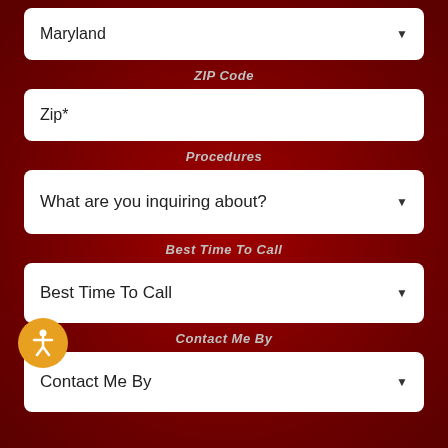Maryland
ZIP Code
Zip*
Procedures
What are you inquiring about?
Best Time To Call
Best Time To Call
Contact Me By
Contact Me By